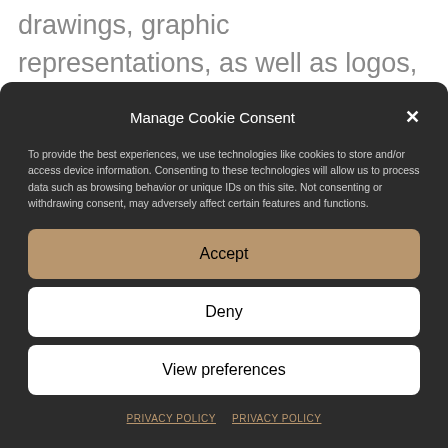drawings, graphic representations, as well as logos, brands, commercial names or other
Manage Cookie Consent
To provide the best experiences, we use technologies like cookies to store and/or access device information. Consenting to these technologies will allow us to process data such as browsing behavior or unique IDs on this site. Not consenting or withdrawing consent, may adversely affect certain features and functions.
Accept
Deny
View preferences
PRIVACY POLICY   PRIVACY POLICY